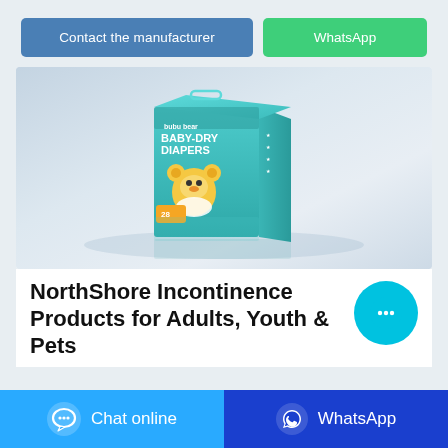Contact the manufacturer
WhatsApp
[Figure (photo): Product photo of a bubu bear Baby-Dry Diapers box on a reflective white surface with a cartoon bear character on the packaging, teal/cyan colored box.]
NorthShore Incontinence Products for Adults, Youth & Pets
Chat online
WhatsApp